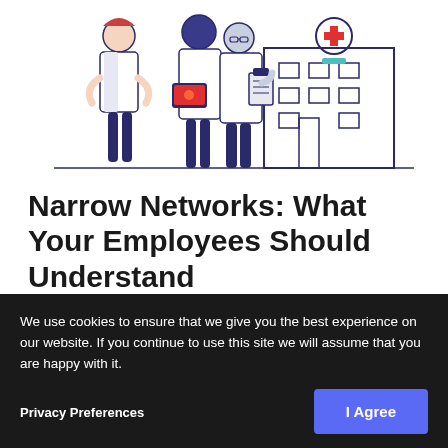[Figure (illustration): Three medical professionals in white coats standing in front of a hospital building with a red cross. One person has red hair and holds a laptop, another holds a clipboard, and the third wears glasses. The building behind them has a prominent red cross symbol.]
Narrow Networks: What Your Employees Should Understand
Updated July 2022 Narrow provider
networks are becoming a common part of services organizations, these networks are the best option for controlling medi costs. That's because narrow netwo
We use cookies to ensure that we give you the best experience on our website. If you continue to use this site we will assume that you are happy with it.
Privacy Preferences
I Agree